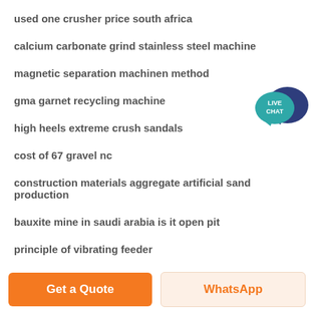used one crusher price south africa
calcium carbonate grind stainless steel machine
[Figure (illustration): Live Chat badge: teal speech bubble with dark blue larger bubble, white text 'LIVE CHAT']
magnetic separation machinen method
gma garnet recycling machine
high heels extreme crush sandals
cost of 67 gravel nc
construction materials aggregate artificial sand production
bauxite mine in saudi arabia is it open pit
principle of vibrating feeder
Get a Quote | WhatsApp